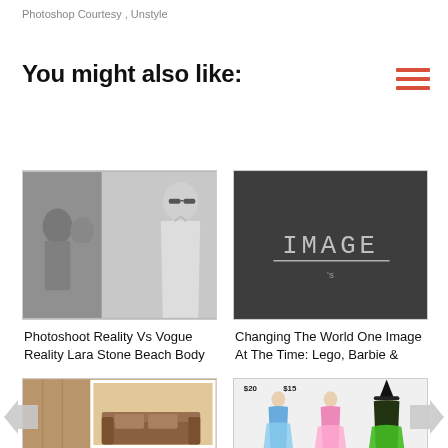Photoshop Courtesy ,  Unstyle
You might also like:
[Figure (photo): Black and white collage showing beach/swimwear scene with a woman in a white one-piece swimsuit and sunglasses]
Photoshoot Reality Vs Vogue Reality Lara Stone Beach Body
[Figure (photo): Dark chalkboard background with the word IMAGE written in chalk with a line underneath and a small mark below]
Changing The World One Image At The Time: Lego, Barbie &
[Figure (photo): Interior room scene with wooden paneling on left and a brown couch/sofa visible on the right side]
[Figure (photo): Halloween costume catalog showing three children in costumes: blue fairy, pink ballerina, and black witch. Price tags showing $20 and $15 visible at top.]